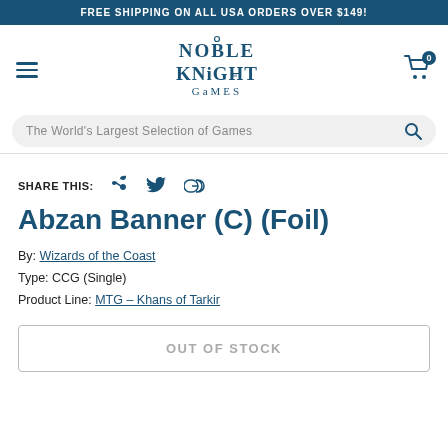FREE SHIPPING ON ALL USA ORDERS OVER $149!
[Figure (logo): Noble Knight Games logo in blue serif/display font]
The World's Largest Selection of Games
SHARE THIS:
Abzan Banner (C) (Foil)
By: Wizards of the Coast
Type: CCG (Single)
Product Line: MTG – Khans of Tarkir
OUT OF STOCK